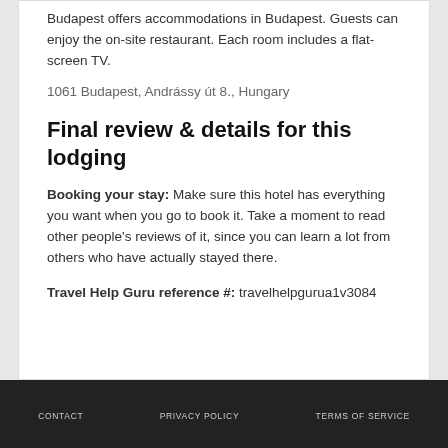Budapest offers accommodations in Budapest. Guests can enjoy the on-site restaurant. Each room includes a flat-screen TV.
1061 Budapest, Andrássy út 8., Hungary
Final review & details for this lodging
Booking your stay: Make sure this hotel has everything you want when you go to book it. Take a moment to read other people's reviews of it, since you can learn a lot from others who have actually stayed there.
Travel Help Guru reference #: travelhelpgurua1v3084
CONTACT   PRIVACY POLICY   TERMS OF SERVICE